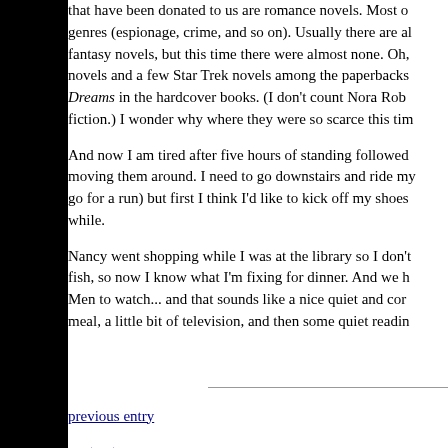that have been donated to us are romance novels. Most of other genres (espionage, crime, and so on). Usually there are also fantasy novels, but this time there were almost none. Oh, novels and a few Star Trek novels among the paperbacks. Dreams in the hardcover books. (I don't count Nora Robe fiction.) I wonder why where they were so scarce this tim
And now I am tired after five hours of standing followed moving them around. I need to go downstairs and ride my go for a run) but first I think I'd like to kick off my shoes while.
Nancy went shopping while I was at the library so I don't fish, so now I know what I'm fixing for dinner. And we ha Men to watch... and that sounds like a nice quiet and com meal, a little bit of television, and then some quiet reading
previous entry
next entry
To list of entries for 2011